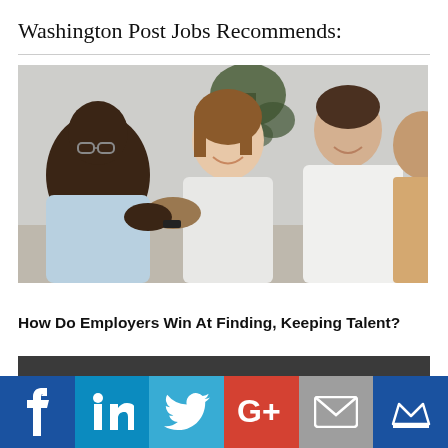Washington Post Jobs Recommends:
[Figure (photo): Three people at a table smiling and shaking hands in a meeting or interview setting, with a plant in the background.]
How Do Employers Win At Finding, Keeping Talent?
[Figure (infographic): Dark gray bar followed by a social sharing bar with Facebook, LinkedIn, Twitter, Google+, Email, and Crown icons.]